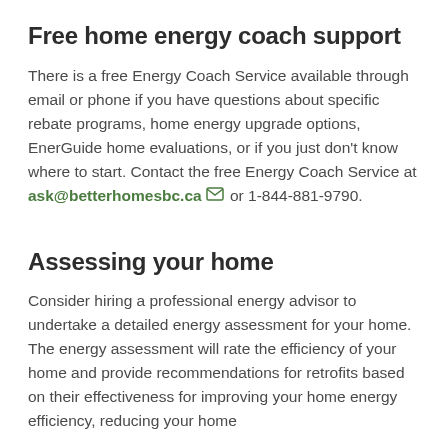Free home energy coach support
There is a free Energy Coach Service available through email or phone if you have questions about specific rebate programs, home energy upgrade options, EnerGuide home evaluations, or if you just don't know where to start. Contact the free Energy Coach Service at ask@betterhomesbc.ca or 1-844-881-9790.
Assessing your home
Consider hiring a professional energy advisor to undertake a detailed energy assessment for your home. The energy assessment will rate the efficiency of your home and provide recommendations for retrofits based on their effectiveness for improving your home energy efficiency, reducing your home